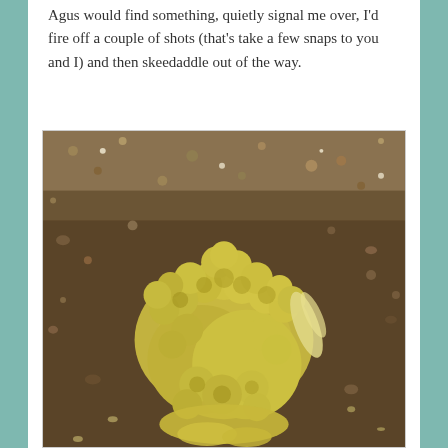Agus would find something, quietly signal me over, I'd fire off a couple of shots (that's take a few snaps to you and I) and then skeedaddle out of the way.
[Figure (photo): Close-up photograph of a yellow sea slug or nudibranch on a sandy, pebbly ocean floor. The creature has many bumpy, rounded protrusions and is bright yellowish-green in color.]